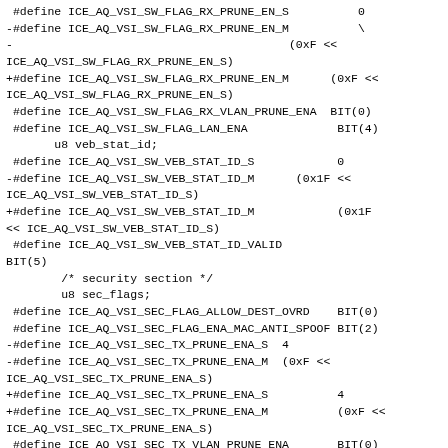#define ICE_AQ_VSI_SW_FLAG_RX_PRUNE_EN_S          0
-#define ICE_AQ_VSI_SW_FLAG_RX_PRUNE_EN_M          \
-                                        (0xF <<
ICE_AQ_VSI_SW_FLAG_RX_PRUNE_EN_S)
+#define ICE_AQ_VSI_SW_FLAG_RX_PRUNE_EN_M      (0xF <<
ICE_AQ_VSI_SW_FLAG_RX_PRUNE_EN_S)
 #define ICE_AQ_VSI_SW_FLAG_RX_VLAN_PRUNE_ENA  BIT(0)
 #define ICE_AQ_VSI_SW_FLAG_LAN_ENA             BIT(4)
       u8 veb_stat_id;
 #define ICE_AQ_VSI_SW_VEB_STAT_ID_S            0
-#define ICE_AQ_VSI_SW_VEB_STAT_ID_M      (0x1F <<
ICE_AQ_VSI_SW_VEB_STAT_ID_S)
+#define ICE_AQ_VSI_SW_VEB_STAT_ID_M            (0x1F
<< ICE_AQ_VSI_SW_VEB_STAT_ID_S)
 #define ICE_AQ_VSI_SW_VEB_STAT_ID_VALID
BIT(5)
        /* security section */
        u8 sec_flags;
 #define ICE_AQ_VSI_SEC_FLAG_ALLOW_DEST_OVRD    BIT(0)
 #define ICE_AQ_VSI_SEC_FLAG_ENA_MAC_ANTI_SPOOF BIT(2)
-#define ICE_AQ_VSI_SEC_TX_PRUNE_ENA_S  4
-#define ICE_AQ_VSI_SEC_TX_PRUNE_ENA_M  (0xF <<
ICE_AQ_VSI_SEC_TX_PRUNE_ENA_S)
+#define ICE_AQ_VSI_SEC_TX_PRUNE_ENA_S          4
+#define ICE_AQ_VSI_SEC_TX_PRUNE_ENA_M          (0xF <<
ICE_AQ_VSI_SEC_TX_PRUNE_ENA_S)
 #define ICE_AQ_VSI_SEC_TX_VLAN_PRUNE_ENA       BIT(0)
        u8 sec_reserved;
        /* VLAN section */
-       __le16 pvid; /* VLANS include priority bits */